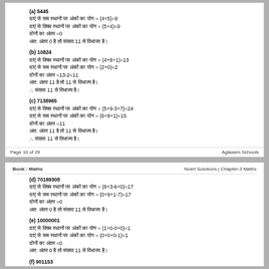(a) 5445
दाएं से सम स्थानों पर अंकों का योग = (4+5)=9
दाएं से विषम स्थानों पर अंकों का योग = (5+4)=9
दोनों का अंतर =0
अत: अंतर 0 है तो संख्या 11 से विभाज्य है।
(b) 10824
दाएं से विषम स्थानों पर अंकों का योग = (4+8+1)=13
दाएं से सम स्थानों पर अंकों का योग = (2+0)=2
दोनों का अंतर =13-2=11
अत: अंतर 11 है तो 11 से विभाज्य है।
∴ संख्या 11 से विभाज्य है।
(c) 7138965
दाएं से विषम स्थानों पर अंकों का योग = (5+9-3+7)=24
दाएं से सम स्थानों पर अंकों का योग = (6+8+1)=15
दोनों का अंतर =11
अत: अंतर 11 है तो 11 से विभाज्य है।
∴ संख्या 11 से विभाज्य है।
Page 10 of 29                                                                        Aglasem Schools
Book : Maths                                                          Ncert Solutions | Chapter-3 Maths
(d) 70169308
दाएं से विषम स्थानों पर अंकों का योग = (8+3-6+0)=17
दाएं से सम स्थानों पर अंकों का योग = (0+9+1-7)=17
दोनों का अंतर =0
अत: अंतर 0 है तो संख्या 11 से विभाज्य है।
(e) 10000001
दाएं से विषम स्थानों पर अंकों का योग = (1+0-0+0)=1
दाएं से सम स्थानों पर अंकों का योग = (0+0+0-1)=1
दोनों का अंतर =0
अत: अंतर 0 है तो संख्या 11 से विभाज्य है।
(f) 901153
दाएं से विषम स्थानों पर अंकों का योग = (1+0-0+0)=1
दाएं से सम स्थानों पर अंकों का योग = (0+0+0-1)=1
दोनों का अंतर =0
∴ अंतर 11 है तो 11 से विभाज्य है।